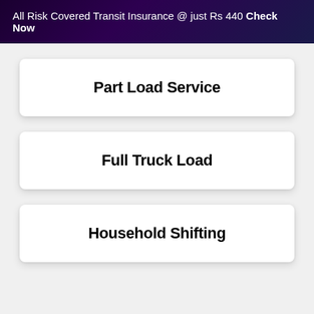All Risk Covered Transit Insurance @ just Rs 440 Check Now
Part Load Service
Full Truck Load
Household Shifting